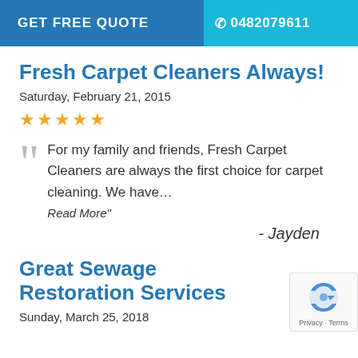GET FREE QUOTE   0482079611
Fresh Carpet Cleaners Always!
Saturday, February 21, 2015
★★★★★
For my family and friends, Fresh Carpet Cleaners are always the first choice for carpet cleaning. We have…
Read More"
- Jayden
Great Sewage Restoration Services
Sunday, March 25, 2018